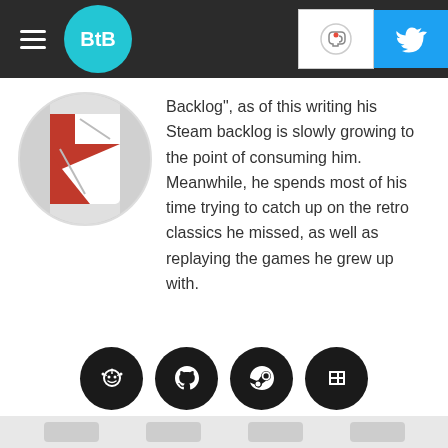[Figure (screenshot): Website navigation bar with hamburger menu, BtB circular logo in teal, Ko-fi button, and Twitter button]
[Figure (photo): Circular cropped avatar image showing a red and white anime/game character]
Backlog", as of this writing his Steam backlog is slowly growing to the point of consuming him. Meanwhile, he spends most of his time trying to catch up on the retro classics he missed, as well as replaying the games he grew up with.
[Figure (infographic): Row of four dark circular social media icons: Reddit, GitHub, Steam, and a list/backloggery icon]